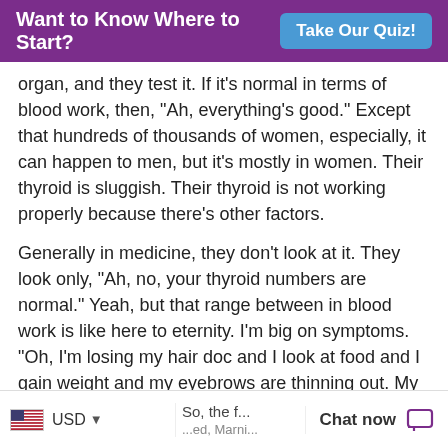Want to Know Where to Start? Take Our Quiz!
organ, and they test it. If it's normal in terms of blood work, then, "Ah, everything's good." Except that hundreds of thousands of women, especially, it can happen to men, but it's mostly in women. Their thyroid is sluggish. Their thyroid is not working properly because there's other factors.
Generally in medicine, they don't look at it. They look only, "Ah, no, your thyroid numbers are normal." Yeah, but that range between in blood work is like here to eternity. I'm big on symptoms. "Oh, I'm losing my hair doc and I look at food and I gain weight and my eyebrows are thinning out. My skin is dry. My nails are very fragile and you know, I'm sluggish and I got constipation and you name it." Those are thyroid symptoms. But in my days of practice, I would look at everything else too, from estrogen to cortisol, to
USD   So, the ...   Chat now   ...ed, Marni...